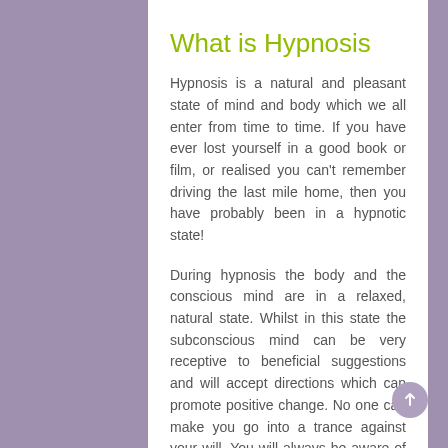What is Hypnosis
Hypnosis is a natural and pleasant state of mind and body which we all enter from time to time. If you have ever lost yourself in a good book or film, or realised you can't remember driving the last mile home, then you have probably been in a hypnotic state!
During hypnosis the body and the conscious mind are in a relaxed, natural state. Whilst in this state the subconscious mind can be very receptive to beneficial suggestions and will accept directions which can promote positive change. No one can make you go into a trance against your will. You will always be aware of what is happening around you and you will